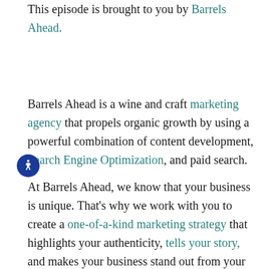This episode is brought to you by Barrels Ahead.
Barrels Ahead is a wine and craft marketing agency that propels organic growth by using a powerful combination of content development, Search Engine Optimization, and paid search.
At Barrels Ahead, we know that your business is unique. That's why we work with you to create a one-of-a-kind marketing strategy that highlights your authenticity, tells your story, and makes your business stand out from your competitors.